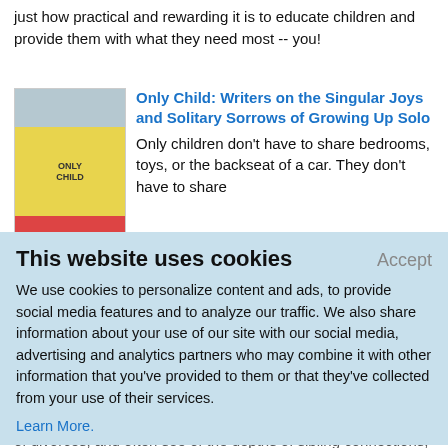just how practical and rewarding it is to educate children and provide them with what they need most -- you!
[Figure (illustration): Book cover of 'Only Child' with blue top section, yellow middle, and red bottom strip]
Only Child: Writers on the Singular Joys and Solitary Sorrows of Growing Up Solo
Only children don't have to share bedrooms, toys, or the backseat of a car. They don't have to share allowances, inheritances, or their parents' attention. But when they get into trouble, they can't just blame their imaginary friends. In Only Child, twenty-one acclaimed writers tell the
This website uses cookies
Accept
We use cookies to personalize content and ads, to provide social media features and to analyze our traffic. We also share information about your use of our site with our social media, advertising and analytics partners who may combine it with other information that you've provided to them or that they've collected from your use of their services.
Learn More.
the dismissive. They describe what it's like to be an only child of divorces, and often see of the depths of sibling connections, and